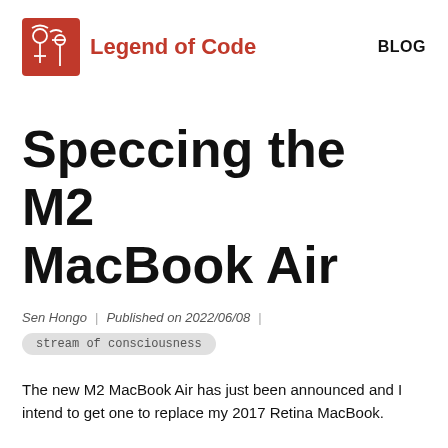Legend of Code | BLOG
Speccing the M2 MacBook Air
Sen Hongo | Published on 2022/06/08 |
stream of consciousness
The new M2 MacBook Air has just been announced and I intend to get one to replace my 2017 Retina MacBook.